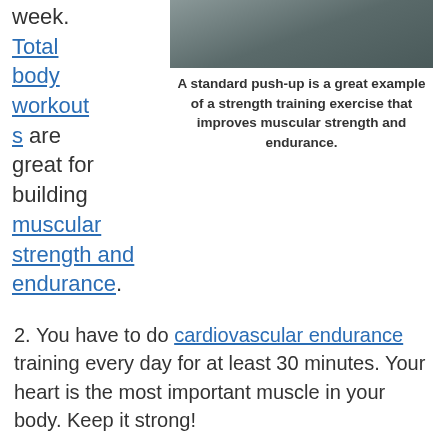week. Total body workouts are great for building muscular strength and endurance.
[Figure (photo): A person doing a push-up on a concrete surface, viewed from above]
A standard push-up is a great example of a strength training exercise that improves muscular strength and endurance.
2. You have to do cardiovascular endurance training every day for at least 30 minutes. Your heart is the most important muscle in your body. Keep it strong!
3. Be sure to stretch all muscle groups every day! Stretching may help to prevent injuries and will